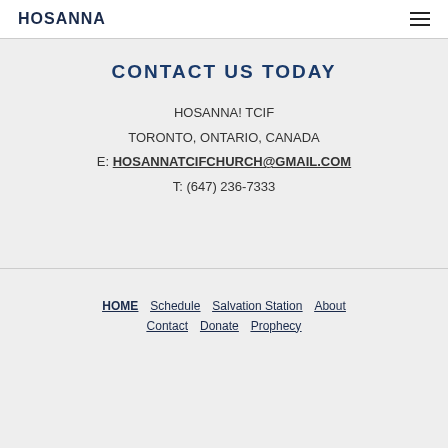HOSANNA
CONTACT US TODAY
HOSANNA! TCIF
TORONTO, ONTARIO, CANADA
E: HOSANNATCIFCHURCH@GMAIL.COM
T: (647) 236-7333
HOME  Schedule  Salvation Station  About  Contact  Donate  Prophecy